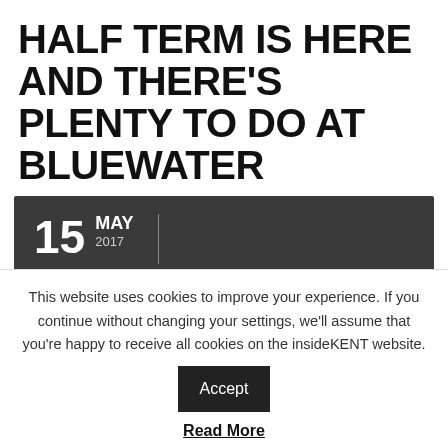HALF TERM IS HERE AND THERE'S PLENTY TO DO AT BLUEWATER
15 MAY 2017 | ♡ 0 | share 0
This website uses cookies to improve your experience. If you continue without changing your settings, we'll assume that you're happy to receive all cookies on the insideKENT website. Accept
Read More